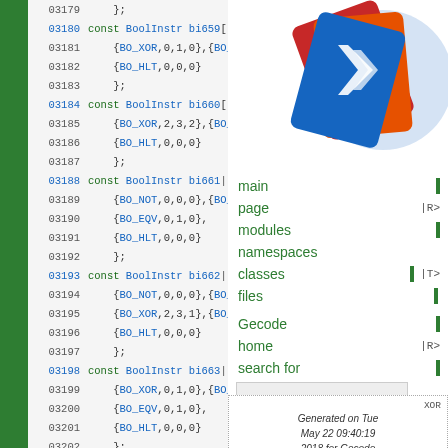[Figure (screenshot): Doxygen-generated source code browser showing C++ BoolInstr array definitions (bi659-bi665) with line numbers 03179-03208 in monospace font. Right side shows navigation panel with Gecode logo, nav links (main page, modules, namespaces, classes, files, Gecode home, search for), and generated-on footer.]